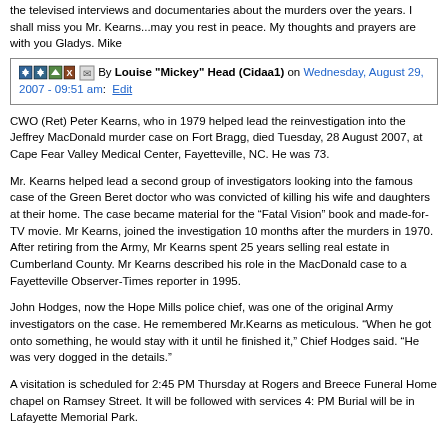the televised interviews and documentaries about the murders over the years. I shall miss you Mr. Kearns...may you rest in peace. My thoughts and prayers are with you Gladys. Mike
By Louise "Mickey" Head (Cidaa1) on Wednesday, August 29, 2007 - 09:51 am: Edit
CWO (Ret) Peter Kearns, who in 1979 helped lead the reinvestigation into the Jeffrey MacDonald murder case on Fort Bragg, died Tuesday, 28 August 2007, at Cape Fear Valley Medical Center, Fayetteville, NC. He was 73.
Mr. Kearns helped lead a second group of investigators looking into the famous case of the Green Beret doctor who was convicted of killing his wife and daughters at their home. The case became material for the “Fatal Vision” book and made-for-TV movie. Mr Kearns, joined the investigation 10 months after the murders in 1970. After retiring from the Army, Mr Kearns spent 25 years selling real estate in Cumberland County. Mr Kearns described his role in the MacDonald case to a Fayetteville Observer-Times reporter in 1995.
John Hodges, now the Hope Mills police chief, was one of the original Army investigators on the case. He remembered Mr.Kearns as meticulous. “When he got onto something, he would stay with it until he finished it,” Chief Hodges said. “He was very dogged in the details.”
A visitation is scheduled for 2:45 PM Thursday at Rogers and Breece Funeral Home chapel on Ramsey Street. It will be followed with services 4: PM Burial will be in Lafayette Memorial Park.